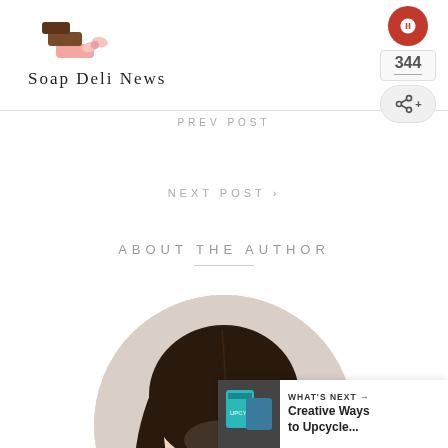[Figure (logo): Soap Deli News logo with soap/candy icon and stylized text]
PREV POST
NEXT POST >
ABOUT THE AUTHOR
[Figure (photo): Circular cropped author portrait photo showing a woman with long dark hair]
WHAT'S NEXT → Creative Ways to Upcycle...